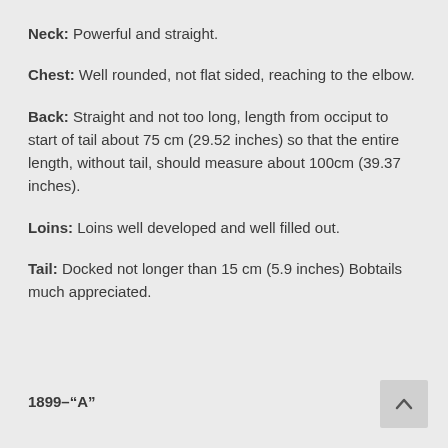Neck: Powerful and straight.
Chest: Well rounded, not flat sided, reaching to the elbow.
Back: Straight and not too long, length from occiput to start of tail about 75 cm (29.52 inches) so that the entire length, without tail, should measure about 100cm (39.37 inches).
Loins: Loins well developed and well filled out.
Tail: Docked not longer than 15 cm (5.9 inches) Bobtails much appreciated.
1899–“A”